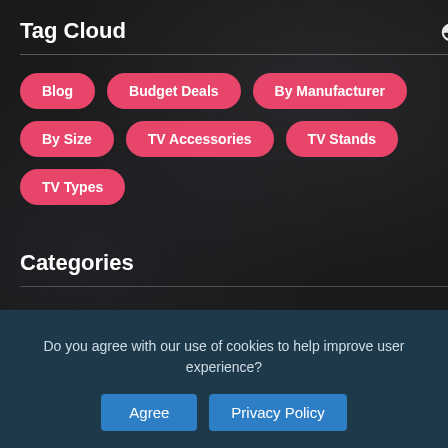Tag Cloud
Blog
Budget Deals
By Manufacturer
By Size
TV Accessories
TV Stands
TV Types
Categories
Blog
Budget Deals
Do you agree with our use of cookies to help improve user experience?
Agree
Privacy Policy